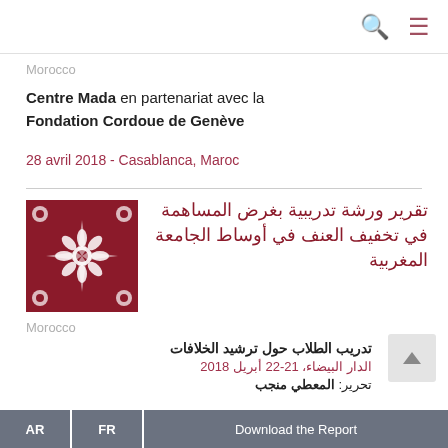🔍 ☰
Morocco
Centre Mada en partenariat avec la Fondation Cordoue de Genève
28 avril 2018 - Casablanca, Maroc
[Figure (illustration): Geometric Moroccan pattern tile in dark red and white]
تقرير ورشة تدريبية بغرض المساهمة في تخفيف العنف في أوساط الجامعة المغربية
Morocco
تدريب الطلاب حول ترشيد الخلافات
الدار البيضاء، 21-22 أبريل 2018
تحرير: المعطي منجب
AR  FR  Download the Report